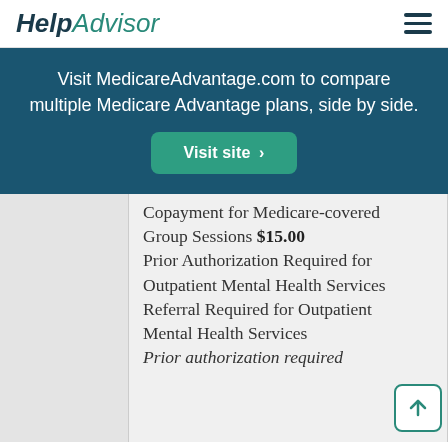HelpAdvisor
Visit MedicareAdvantage.com to compare multiple Medicare Advantage plans, side by side.
Visit site >
Copayment for Medicare-covered Group Sessions $15.00 Prior Authorization Required for Outpatient Mental Health Services Referral Required for Outpatient Mental Health Services Prior authorization required